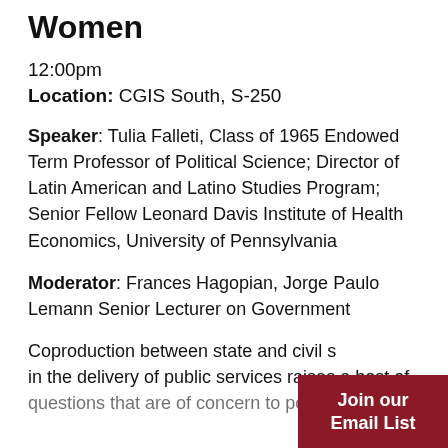Women
12:00pm
Location: CGIS South, S-250
Speaker: Tulia Falleti, Class of 1965 Endowed Term Professor of Political Science; Director of Latin American and Latino Studies Program; Senior Fellow Leonard Davis Institute of Health Economics, University of Pennsylvania
Moderator: Frances Hagopian, Jorge Paulo Lemann Senior Lecturer on Government
Coproduction between state and civil society in the delivery of public services raises a host of questions that are of concern to policymakers...
Join our Email List